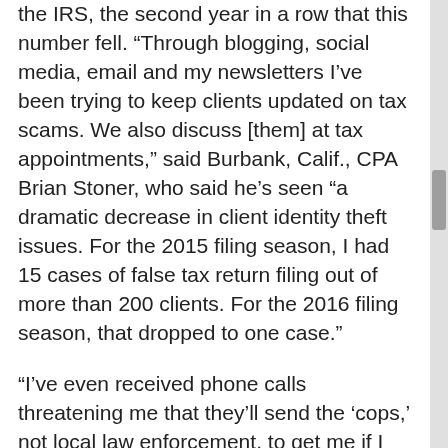the IRS, the second year in a row that this number fell. “Through blogging, social media, email and my newsletters I’ve been trying to keep clients updated on tax scams. We also discuss [them] at tax appointments,” said Burbank, Calif., CPA Brian Stoner, who said he’s seen “a dramatic decrease in client identity theft issues. For the 2015 filing season, I had 15 cases of false tax return filing out of more than 200 clients. For the 2016 filing season, that dropped to one case.”
“I’ve even received phone calls threatening me that they’ll send the ‘cops,’ not local law enforcement, to get me if I don’t respond to their requests for information about false tax amounts due,” said Scott Kadrlik, a CPA and managing partner at Meuwissen, Flygare, Kadrlik & Associates in Eden Prairie, Minn.
It seems all preparers can do is keep hammering at clients. “All of my clients are on a mailing list and I